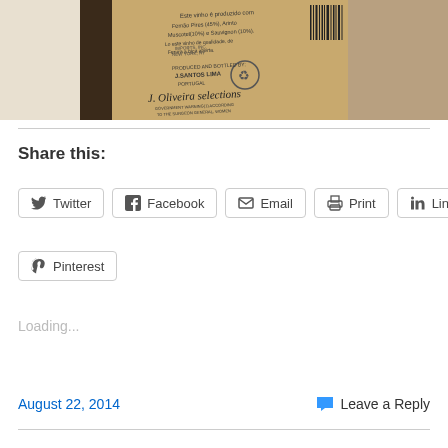[Figure (photo): Close-up photo of the back label of a wine bottle showing text about J. Oliveira selections, Santos Lima, ingredients including Fernão Pires 45%, Arinto, Muscat 10%, Sauvignon 10%, with a barcode visible at the top right and a recycling symbol in the center]
Share this:
Twitter  Facebook  Email  Print  LinkedIn  Pinterest
Loading...
August 22, 2014
Leave a Reply